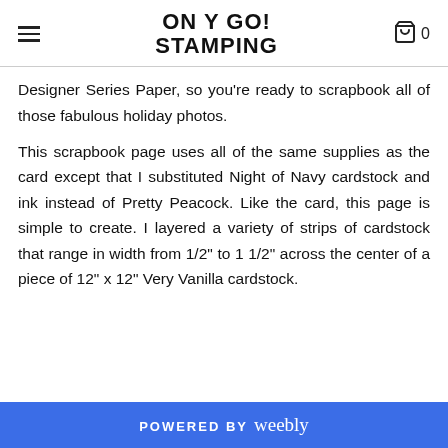ON Y GO! STAMPING
Designer Series Paper, so you’re ready to scrapbook all of those fabulous holiday photos.
This scrapbook page uses all of the same supplies as the card except that I substituted Night of Navy cardstock and ink instead of Pretty Peacock. Like the card, this page is simple to create. I layered a variety of strips of cardstock that range in width from 1/2" to 1 1/2" across the center of a piece of 12" x 12" Very Vanilla cardstock.
POWERED BY weebly